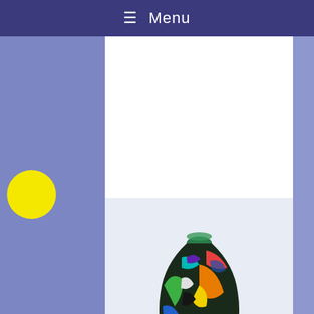☰ Menu
[Figure (logo): Sideways website logo with www.abc.co text and yellow circle, on purple/periwinkle sidebar]
[Figure (photo): Colorful hand-painted glass vase with abstract multicolor geometric patterns (green, red, orange, blue, yellow, pink, purple) on a teardrop/bulbous shape with a circular opening near the base]
Alchemyst Studio, Linda